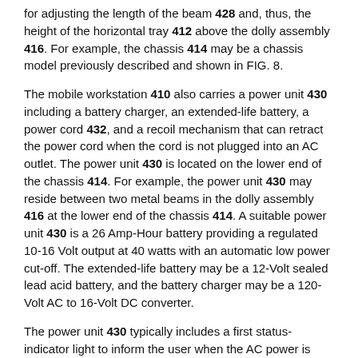for adjusting the length of the beam 428 and, thus, the height of the horizontal tray 412 above the dolly assembly 416. For example, the chassis 414 may be a chassis model previously described and shown in FIG. 8.
The mobile workstation 410 also carries a power unit 430 including a battery charger, an extended-life battery, a power cord 432, and a recoil mechanism that can retract the power cord when the cord is not plugged into an AC outlet. The power unit 430 is located on the lower end of the chassis 414. For example, the power unit 430 may reside between two metal beams in the dolly assembly 416 at the lower end of the chassis 414. A suitable power unit 430 is a 26 Amp-Hour battery providing a regulated 10-16 Volt output at 40 watts with an automatic low power cut-off. The extended-life battery may be a 12-Volt sealed lead acid battery, and the battery charger may be a 120-Volt AC to 16-Volt DC converter.
The power unit 430 typically includes a first status-indicator light to inform the user when the AC power is being supplied, a second status-indicator light to inform the user when the battery needs recharging, and a seven-band battery status-indicator light. The power unit 430...